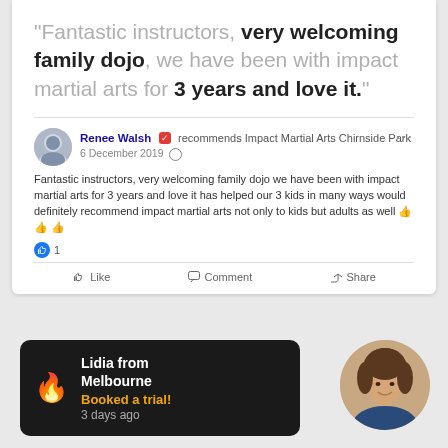"Fantastic instructors, very welcoming family dojo, we have been with impact martial arts for 3 years and love it."
[Figure (screenshot): Facebook post by Renee Walsh recommending Impact Martial Arts Chirnside Park, dated 6 December 2019, with review text and like/comment/share buttons]
[Figure (infographic): Black notification card: Lidia from Melbourne - Booked a trial! - 3 days ago, with flame emoji]
[Figure (photo): Circular profile photo of a woman with brown hair, smiling]